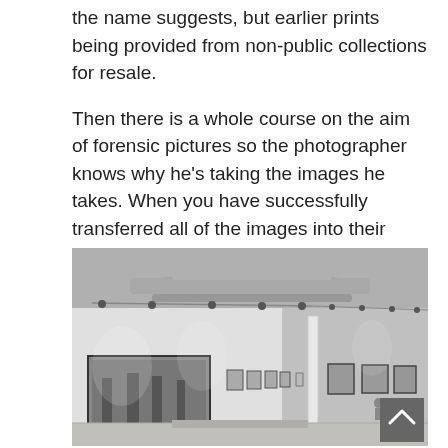the name suggests, but earlier prints being provided from non-public collections for resale.

Then there is a whole course on the aim of forensic pictures so the photographer knows why he's taking the images he takes. When you have successfully transferred all of the images into their designated folders you will no longer want the unique folder you created when you imported all the photos.
[Figure (photo): Black and white photograph of an art gallery interior showing a long corridor with white walls lined with framed photographs, track lighting on the ceiling, and industrial pipes/ductwork visible above.]